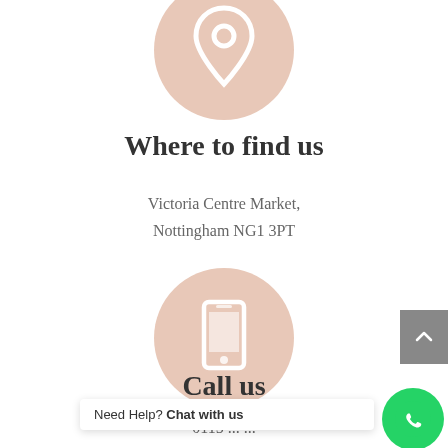[Figure (illustration): A peach/beige circle with a white location pin icon]
Where to find us
Victoria Centre Market,
Nottingham NG1 3PT
[Figure (illustration): A peach/beige circle with a white mobile phone icon]
Call us
0115... (partially obscured)
07830082289
[Figure (other): Gray scroll-to-top button with upward chevron arrow]
Need Help? Chat with us
[Figure (logo): Green WhatsApp circle button with white phone/speech bubble icon]